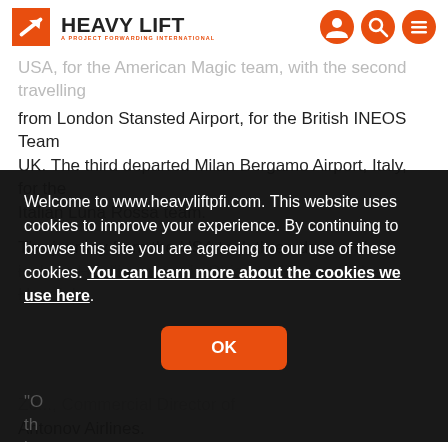HEAVY LIFT & PROJECT FORWARDING INTERNATIONAL
USA, for the American Magic team, with the second travelling from London Stansted Airport, for the British INEOS Team UK. The third departed Milan Bergamo Airport, Italy, for the Italian Luna Rossa team.
The journey from the USA took three days and included fuelling stops in Chicago, Illinois, and Honolulu, Hawaii...
Welcome to www.heavyliftpfi.com. This website uses cookies to improve your experience. By continuing to browse this site you are agreeing to our use of these cookies. You can learn more about the cookies we use here.
Antonov Airlines.